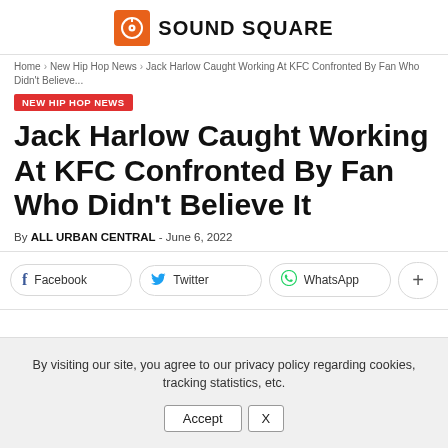SOUND SQUARE
Home › New Hip Hop News › Jack Harlow Caught Working At KFC Confronted By Fan Who Didn't Believe...
NEW HIP HOP NEWS
Jack Harlow Caught Working At KFC Confronted By Fan Who Didn't Believe It
By ALL URBAN CENTRAL - June 6, 2022
Facebook   Twitter   WhatsApp   +
By visiting our site, you agree to our privacy policy regarding cookies, tracking statistics, etc.
Accept   X